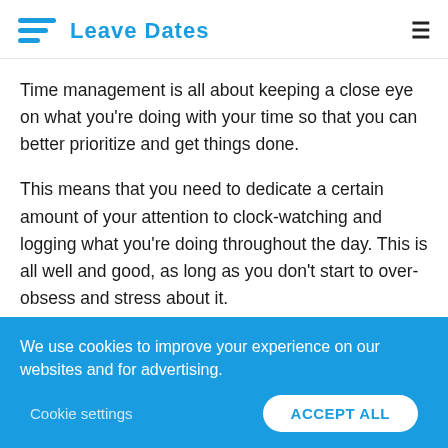Leave Dates
Time management is all about keeping a close eye on what you're doing with your time so that you can better prioritize and get things done.
This means that you need to dedicate a certain amount of your attention to clock-watching and logging what you're doing throughout the day. This is all well and good, as long as you don't start to over-obsess and stress about it.
We use cookies to improve your experience on our websites and for advertising.
Cookie settings   ACCEPT ALL